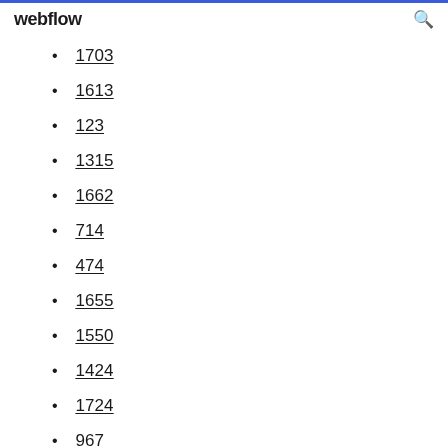webflow
1703
1613
123
1315
1662
714
474
1655
1550
1424
1724
967
1206